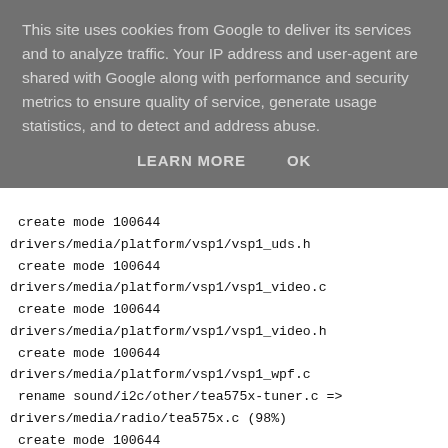This site uses cookies from Google to deliver its services and to analyze traffic. Your IP address and user-agent are shared with Google along with performance and security metrics to ensure quality of service, generate usage statistics, and to detect and address abuse.
LEARN MORE   OK
create mode 100644
drivers/media/platform/vsp1/vsp1_uds.h
 create mode 100644
drivers/media/platform/vsp1/vsp1_video.c
 create mode 100644
drivers/media/platform/vsp1/vsp1_video.h
 create mode 100644
drivers/media/platform/vsp1/vsp1_wpf.c
 rename sound/i2c/other/tea575x-tuner.c =>
drivers/media/radio/tea575x.c (98%)
 create mode 100644
drivers/media/usb/gspca/stk1135.c
 create mode 100644